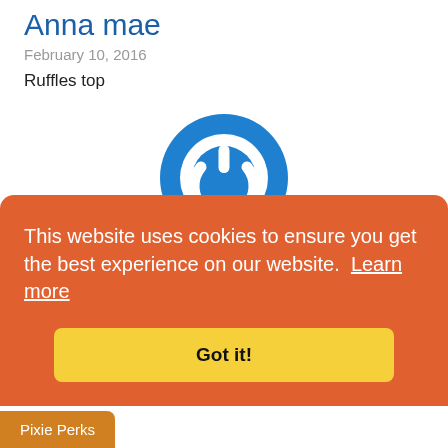Anna mae
February 10, 2016
Ruffles top
[Figure (logo): Blue circular power button icon / avatar placeholder]
Carolyn
February 10, 2016
Granddaughter's AG doll requests the
This website uses cookies to ensure you get the best experience on our website. Learn more
Got it!
Pixie Perks